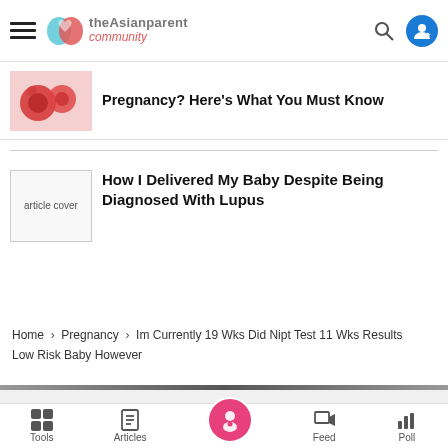theAsianparent community
[Figure (screenshot): Article thumbnail showing red blood cell images]
Pregnancy? Here's What You Must Know
[Figure (photo): Article cover placeholder image]
How I Delivered My Baby Despite Being Diagnosed With Lupus
Home > Pregnancy > Im Currently 19 Wks Did Nipt Test 11 Wks Results Low Risk Baby However
Tools | Articles | (home) | Feed | Poll